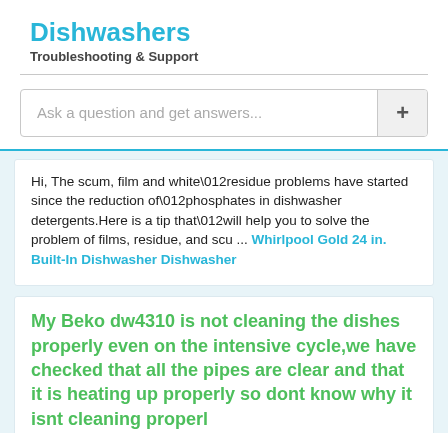Dishwashers
Troubleshooting & Support
Ask a question and get answers...
Hi, The scum, film and white\012residue problems have started since the reduction of\012phosphates in dishwasher detergents. Here is a tip that\012will help you to solve the problem of films, residue, and scu ... Whirlpool Gold 24 in. Built-In Dishwasher Dishwasher
My Beko dw4310 is not cleaning the dishes properly even on the intensive cycle,we have checked that all the pipes are clear and that it is heating up properly so dont know why it isnt cleaning properl ... Dishwashers
Gritty dishes My dishes are coming out